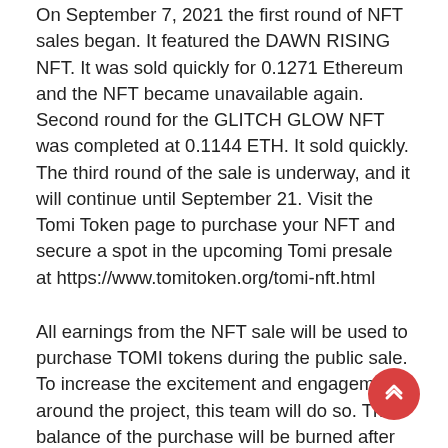On September 7, 2021 the first round of NFT sales began. It featured the DAWN RISING NFT. It was sold quickly for 0.1271 Ethereum and the NFT became unavailable again. Second round for the GLITCH GLOW NFT was completed at 0.1144 ETH. It sold quickly. The third round of the sale is underway, and it will continue until September 21. Visit the Tomi Token page to purchase your NFT and secure a spot in the upcoming Tomi presale at https://www.tomitoken.org/tomi-nft.html
All earnings from the NFT sale will be used to purchase TOMI tokens during the public sale. To increase the excitement and engagement around the project, this team will do so. The balance of the purchase will be burned after the ETH has been exchanged for TOMI. In recent months, a number of NFT-related projects have